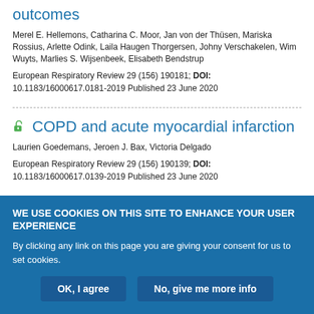outcomes
Merel E. Hellemons, Catharina C. Moor, Jan von der Thüsen, Mariska Rossius, Arlette Odink, Laila Haugen Thorgersen, Johny Verschakelen, Wim Wuyts, Marlies S. Wijsenbeek, Elisabeth Bendstrup
European Respiratory Review 29 (156) 190181; DOI: 10.1183/16000617.0181-2019 Published 23 June 2020
COPD and acute myocardial infarction
Laurien Goedemans, Jeroen J. Bax, Victoria Delgado
European Respiratory Review 29 (156) 190139; DOI: 10.1183/16000617.0139-2019 Published 23 June 2020
Nu...
WE USE COOKIES ON THIS SITE TO ENHANCE YOUR USER EXPERIENCE
By clicking any link on this page you are giving your consent for us to set cookies.